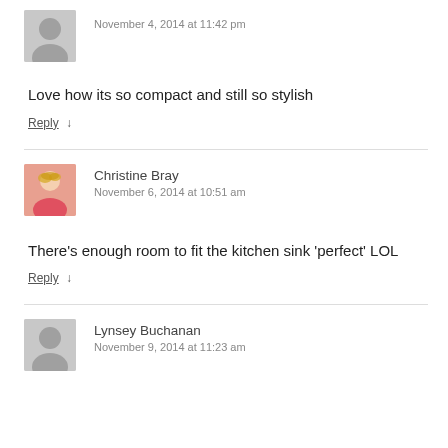[Figure (photo): Generic grey avatar silhouette for anonymous user]
November 4, 2014 at 11:42 pm
Love how its so compact and still so stylish
Reply ↓
[Figure (photo): Photo of Christine Bray, a woman with short blonde hair and a pink/red top]
Christine Bray
November 6, 2014 at 10:51 am
There's enough room to fit the kitchen sink 'perfect' LOL
Reply ↓
[Figure (photo): Generic grey avatar silhouette for Lynsey Buchanan]
Lynsey Buchanan
November 9, 2014 at 11:23 am